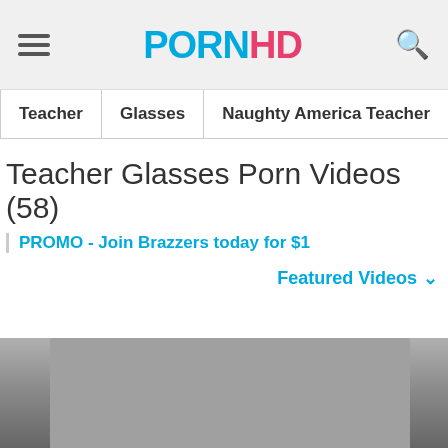PORNHD — navigation header with hamburger menu and search icon
Teacher
Glasses
Naughty America Teacher
School
Teacher Glasses Porn Videos (58)
PROMO - Join Brazzers today for $1
Featured Videos
[Figure (photo): Partial thumbnail image of a video at the bottom of the page]